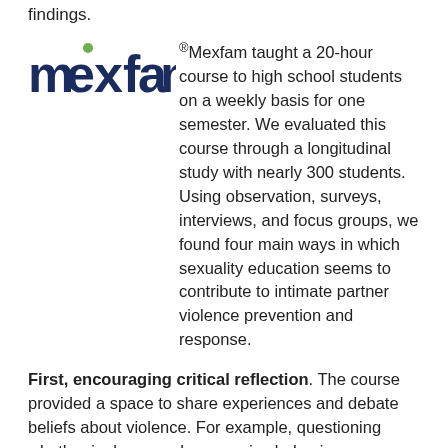findings.
[Figure (logo): Mexfam logo — stylized bold lowercase 'mexfam' in dark navy blue with a small green dot above the 'x', followed by a registered trademark symbol.]
Mexfam taught a 20-hour course to high school students on a weekly basis for one semester. We evaluated this course through a longitudinal study with nearly 300 students. Using observation, surveys, interviews, and focus groups, we found four main ways in which sexuality education seems to contribute to intimate partner violence prevention and response.
First, encouraging critical reflection. The course provided a space to share experiences and debate beliefs about violence. For example, questioning whether jealousy and possessive behavior were signs of love, or rather, forms of violence. One young woman said: